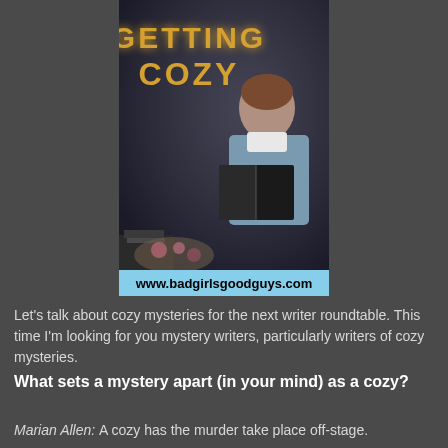[Figure (illustration): Book cover or blog banner for 'Getting Cozy' showing a vintage woman reading a book, with golden art-deco style text 'GETTING COZY' at the top, and a URL bar at the bottom reading www.badgirlsgoodguys.com]
Let's talk about cozy mysteries for the next writer roundtable. This time I'm looking for you mystery writers, particularly writers of cozy mysteries.
What sets a mystery apart (in your mind) as a cozy?
Marian Allen: A cozy has the murder take place off-stage.